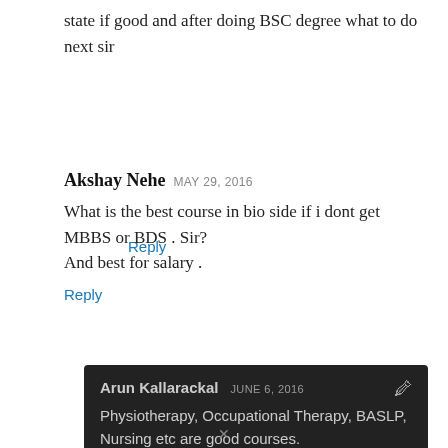state if good and after doing BSC degree what to do next sir
Reply
Akshay Nehe MAY 29, 2016
What is the best course in bio side if i dont get MBBS or BDS . Sir?
And best for salary .
Reply
Arun Kallarackal JUNE 6, 2016
Physiotherapy, Occupational Therapy, BASLP, Nursing etc are good courses.
[Figure (infographic): Orange advertisement banner: 'Help send medical aid to Ukraine >>' with DirectRelief logo on the right]